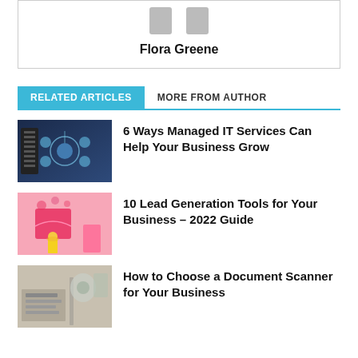Flora Greene
RELATED ARTICLES | MORE FROM AUTHOR
6 Ways Managed IT Services Can Help Your Business Grow
10 Lead Generation Tools for Your Business – 2022 Guide
How to Choose a Document Scanner for Your Business